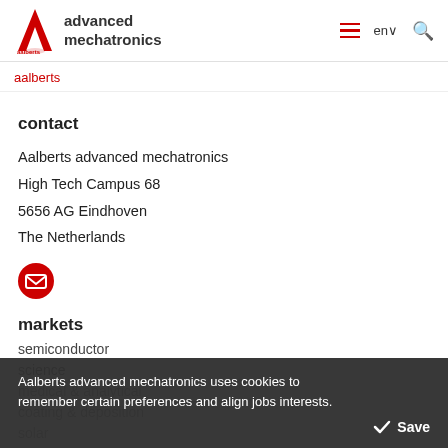advanced mechatronics
aalberts
contact
Aalberts advanced mechatronics
High Tech Campus 68
5656 AG Eindhoven
The Netherlands
[Figure (illustration): Red circular email/envelope icon button]
markets
semiconductor
science
medical & analytical
coating & deposition
solar
image & printing
Aalberts advanced mechatronics uses cookies to remember certain preferences and align jobs interests.
Save